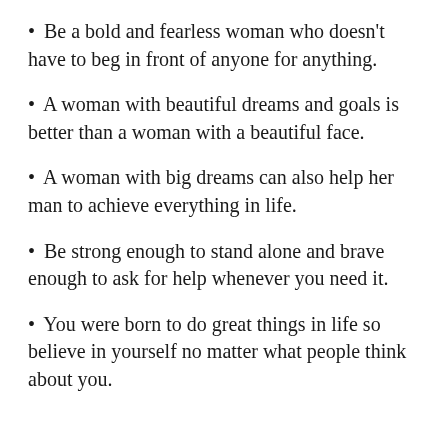Be a bold and fearless woman who doesn't have to beg in front of anyone for anything.
A woman with beautiful dreams and goals is better than a woman with a beautiful face.
A woman with big dreams can also help her man to achieve everything in life.
Be strong enough to stand alone and brave enough to ask for help whenever you need it.
You were born to do great things in life so believe in yourself no matter what people think about you.